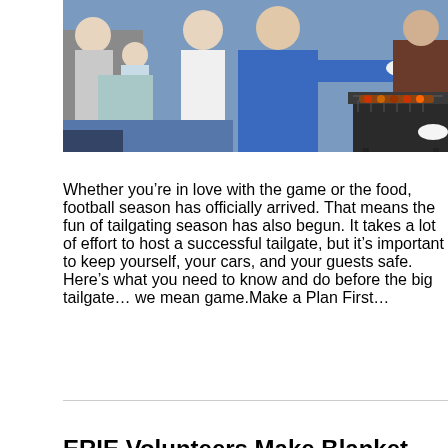[Figure (photo): Group of people tailgating outdoors around a grill, with a man in a blue jacket holding a plate, a child being carried, and food being grilled on a barbecue]
Whether you're in love with the game or the food, football season has officially arrived. That means the fun of tailgating season has also begun. It takes a lot of effort to host a successful tailgate, but it's important to keep yourself, your cars, and your guests safe. Here's what you need to know and do before the big tailgate… we mean game.Make a Plan First…
ERIE Volunteers Make Blanket